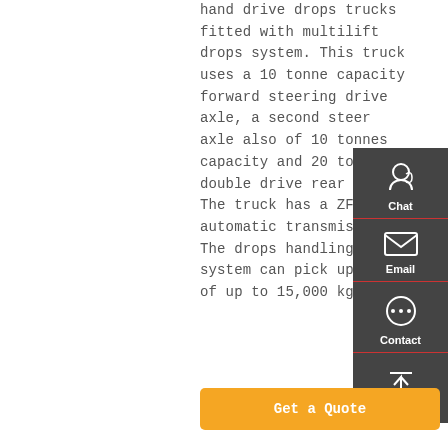hand drive drops trucks fitted with multilift drops system. This truck uses a 10 tonne capacity forward steering drive axle, a second steer axle also of 10 tonnes capacity and 20 tonne double drive rear bogie. The truck has a ZF fully automatic transmission. The drops handling system can pick up loads of up to 15,000 kgs.
[Figure (other): Sidebar widget with Chat, Email, Contact, and Top navigation icons on dark grey background]
Get a Quote